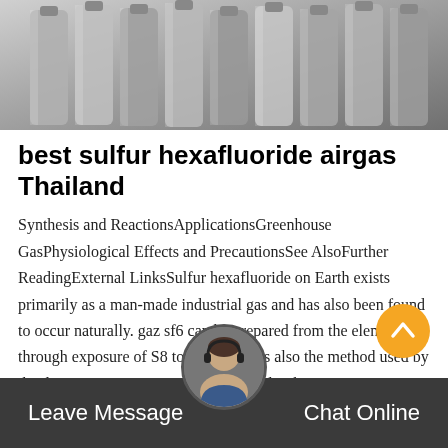[Figure (photo): Hero image showing metallic cylindrical gas tanks/cylinders stacked together, viewed from the side, in grayscale tones]
best sulfur hexafluoride airgas Thailand
Synthesis and ReactionsApplicationsGreenhouse GasPhysiological Effects and PrecautionsSee AlsoFurther ReadingExternal LinksSulfur hexafluoride on Earth exists primarily as a man-made industrial gas and has also been found to occur naturally. gaz sf6 can be prepared from the elements through exposure of S8 to F2. This was also the method used by the discoverers Henri Moissan and Paul Lebeau in 1901. Some other sulfur fluorides are cogenerated, but these are removed by heating the mixture to disproportionate anSee more on en.wikipedia.orgMissing:airgas andMust include argasSynthesi…
Leave Message   Chat Online